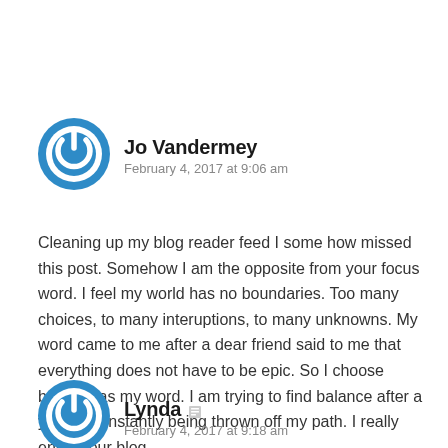Jo Vandermey
February 4, 2017 at 9:06 am
Cleaning up my blog reader feed I somehow missed this post. Somehow I am the opposite from your focus word. I feel my world has no boundaries. Too many choices, to many interuptions, to many unknowns. My word came to me after a dear friend said to me that everything does not have to be epic. So I choose balance as my word. I am trying to find balance after a year of constantly being thrown off my path. I really enjoy your blog.
Lynda
February 4, 2017 at 9:18 am